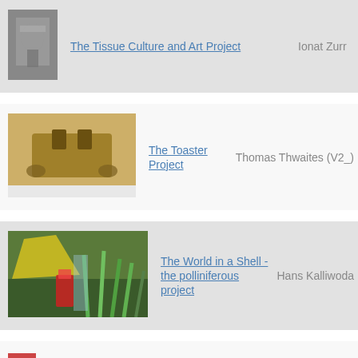[Figure (photo): Small dark photo of a tissue culture art project in a jar]
The Tissue Culture and Art Project
Ionat Zurr
[Figure (photo): Photo of The Toaster Project — a rough raw toaster sculpture]
The Toaster Project
Thomas Thwaites (V2_)
[Figure (photo): Photo of The World in a Shell - the polliniferous project — colorful plant installation]
The World in a Shell - the polliniferous project
Hans Kalliwoda
[Figure (photo): Small partial photo at bottom of page for X Clinic entry]
X Clinic - the environmental
Nat